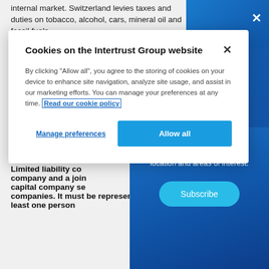internal market. Switzerland levies taxes and duties on tobacco, alcohol, cars, mineral oil and fossil fuels.
[Figure (screenshot): Cookie consent modal dialog on Intertrust Group website with title 'Cookies on the Intertrust Group website', descriptive text about cookie usage, a 'Read our cookie policy' link, 'Manage preferences' button, and 'Allow all' button.]
General partnership... who assume unlimi... to provide start-up...
news and insights, personalised to your role, location and areas of interest.
Subscribe
Limited liability co... company and a join... capital company se... companies. It must be represented by at least one person